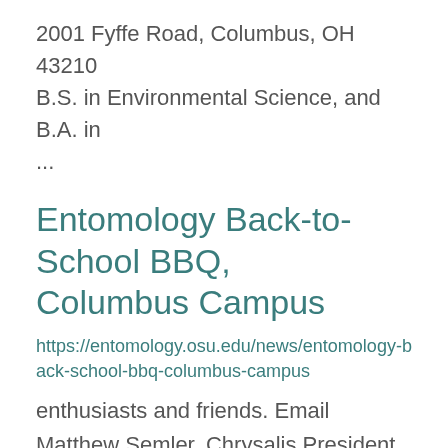2001 Fyffe Road, Columbus, OH 43210
B.S. in Environmental Science, and B.A. in
...
Entomology Back-to-School BBQ, Columbus Campus
https://entomology.osu.edu/news/entomology-back-school-bbq-columbus-campus
enthusiasts and friends. Email Matthew Semler, Chrysalis President, at semlar.21@osu.edu or Dr. Joe ... Raczkowski, Chrysalis Advisor, at raczkowski.2@osu.edu for more information. ...